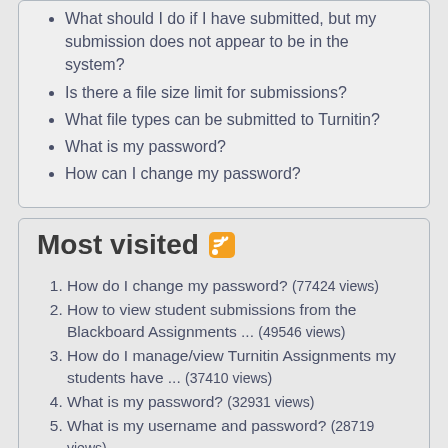What should I do if I have submitted, but my submission does not appear to be in the system?
Is there a file size limit for submissions?
What file types can be submitted to Turnitin?
What is my password?
How can I change my password?
Most visited
How do I change my password? (77424 views)
How to view student submissions from the Blackboard Assignments ... (49546 views)
How do I manage/view Turnitin Assignments my students have ... (37410 views)
What is my password? (32931 views)
What is my username and password? (28719 views)
How can I change my password? (28163 views)
Blackboard Mobile Learn (21122 views)
I can't login to Blackboard (20390 views)
Attaching a file to your journal post (20130 views)
Adding Digex Scans to Courses (18477 views)